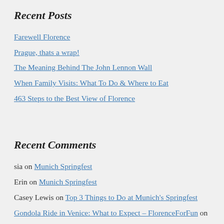Recent Posts
Farewell Florence
Prague, thats a wrap!
The Meaning Behind The John Lennon Wall
When Family Visits: What To Do & Where to Eat
463 Steps to the Best View of Florence
Recent Comments
sia on Munich Springfest
Erin on Munich Springfest
Casey Lewis on Top 3 Things to Do at Munich's Springfest
Gondola Ride in Venice: What to Expect – FlorenceForFun on
Venice: The Enchanting City of Gondolas, Masks and Casanova